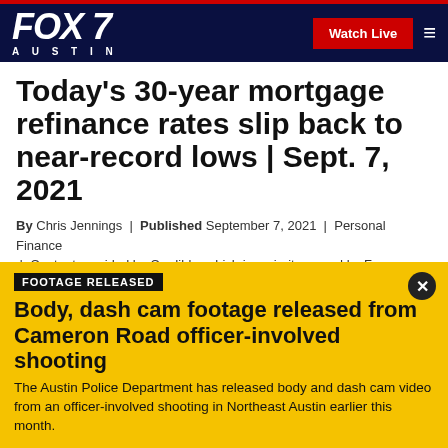FOX 7 AUSTIN — Watch Live
Today's 30-year mortgage refinance rates slip back to near-record lows | Sept. 7, 2021
By Chris Jennings | Published September 7, 2021 | Personal Finance | Content provided by Credible, which is majority owned by Fox Corporation. Credible is solely responsible for this content and the
FOOTAGE RELEASED
Body, dash cam footage released from Cameron Road officer-involved shooting
The Austin Police Department has released body and dash cam video from an officer-involved shooting in Northeast Austin earlier this month.